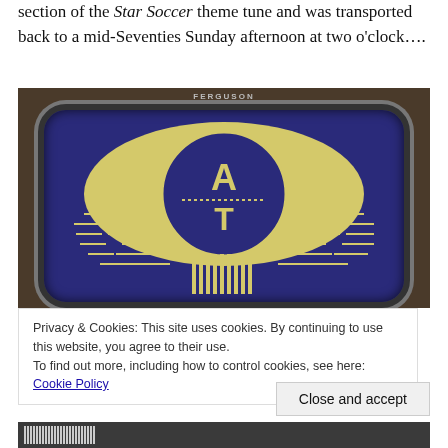section of the Star Soccer theme tune and was transported back to a mid-Seventies Sunday afternoon at two o'clock….
[Figure (photo): A vintage Ferguson television set displaying a blue ATV (Associated Television) logo — a yellow eye shape with the letters A and T inside — photographed close-up showing the rounded-corner screen with chrome bezel and wooden surround.]
Privacy & Cookies: This site uses cookies. By continuing to use this website, you agree to their use.
To find out more, including how to control cookies, see here: Cookie Policy
[Figure (photo): Bottom strip of the vintage Ferguson television showing VU meter bars and control knobs.]